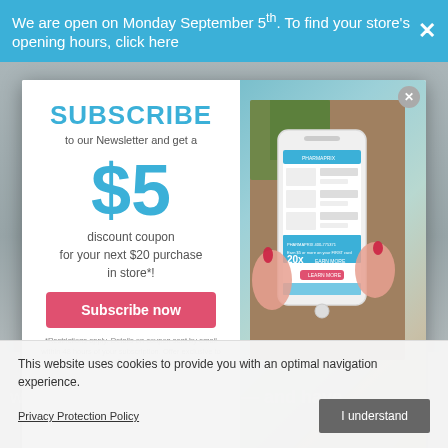We are open on Monday September 5th. To find your store's opening hours, click here
[Figure (screenshot): Modal popup with newsletter subscription offer: SUBSCRIBE to our Newsletter and get a $5 discount coupon for your next $20 purchase in store*! with a Subscribe now button, and a phone image on the right side showing a pharmacy app]
*Restrictions apply. Details on coupon sent by email within 48 hours of your subscription. Offer exclusive to new email addresses only.
This website uses cookies to provide you with an optimal navigation experience.
Privacy Protection Policy
I understand